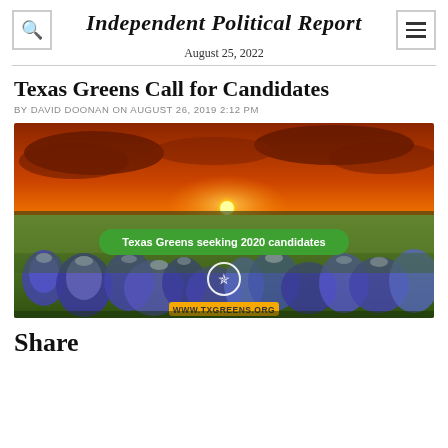Independent Political Report
August 25, 2022
Texas Greens Call for Candidates
BY DAVID DOONAN ON AUGUST 26, 2019 2:12 PM
[Figure (photo): Texas sunset over a field of bluebonnets with text overlay reading 'Texas Greens seeking 2020 candidates' and a Green Party star logo, with www.txgreens.org banner at the bottom]
Share